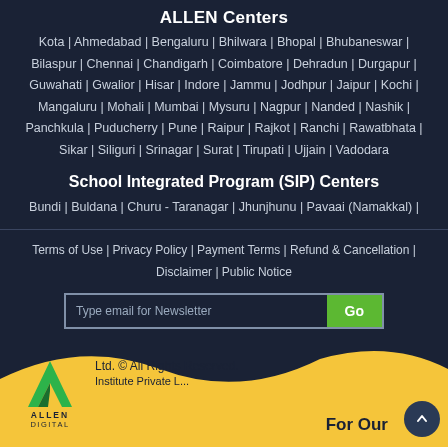ALLEN Centers
Kota | Ahmedabad | Bengaluru | Bhilwara | Bhopal | Bhubaneswar | Bilaspur | Chennai | Chandigarh | Coimbatore | Dehradun | Durgapur | Guwahati | Gwalior | Hisar | Indore | Jammu | Jodhpur | Jaipur | Kochi | Mangaluru | Mohali | Mumbai | Mysuru | Nagpur | Nanded | Nashik | Panchkula | Puducherry | Pune | Raipur | Rajkot | Ranchi | Rawatbhata | Sikar | Siliguri | Srinagar | Surat | Tirupati | Ujjain | Vadodara
School Integrated Program (SIP) Centers
Bundi | Buldana | Churu - Taranagar | Jhunjhunu | Pavaai (Namakkal) |
Terms of Use | Privacy Policy | Payment Terms | Refund & Cancellation | Disclaimer | Public Notice
Type email for Newsletter
Ltd. © All Rights Reserved. Allen Institute Private Limited. For Our
[Figure (logo): ALLEN Digital logo with green A mark and blue ALLEN DIGITAL text]